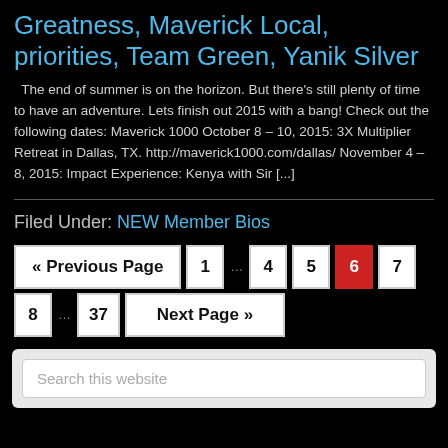Greatness, Maverick Local, priorities, Team Green, Yanik Silver
The end of summer is on the horizon. But there's still plenty of time to have an adventure. Lets finish out 2015 with a bang! Check out the following dates: Maverick 1000 October 8 – 10, 2015: 3X Multiplier Retreat in Dallas, TX. http://maverick1000.com/dallas/ November 4 – 8, 2015: Impact Experience: Kenya with Sir [...]
Filed Under: NEW Member Bios
« Previous Page  1  …  4  5  6  7  8  …  37  Next Page »
Search this website